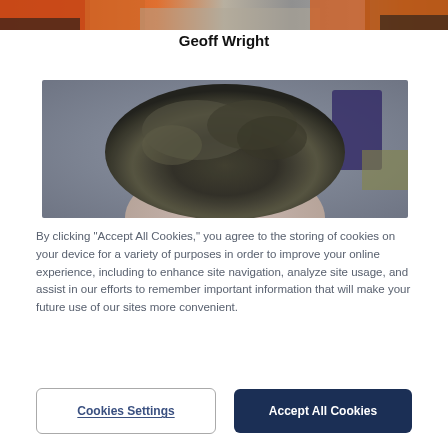[Figure (photo): Top portion of a photo showing people in orange and dark clothing, cropped to a narrow horizontal strip at the top of the page.]
Geoff Wright
[Figure (photo): Close-up blurred photo of the top of a person's head with dark hair, taken indoors with a gray background and a dark object in the upper right.]
By clicking “Accept All Cookies,” you agree to the storing of cookies on your device for a variety of purposes in order to improve your online experience, including to enhance site navigation, analyze site usage, and assist in our efforts to remember important information that will make your future use of our sites more convenient.
Cookies Settings
Accept All Cookies